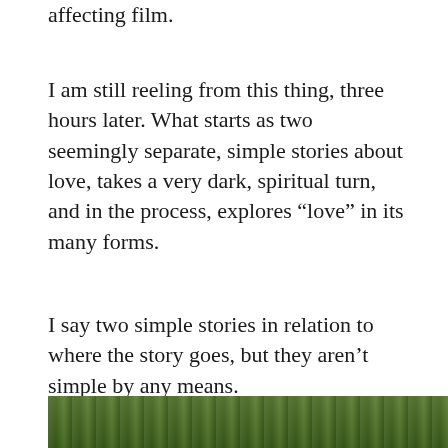affecting film.
I am still reeling from this thing, three hours later. What starts as two seemingly separate, simple stories about love, takes a very dark, spiritual turn, and in the process, explores “love” in its many forms.
I say two simple stories in relation to where the story goes, but they aren’t simple by any means.
[Figure (photo): A photograph showing green foliage or trees, partially visible at the bottom of the page.]